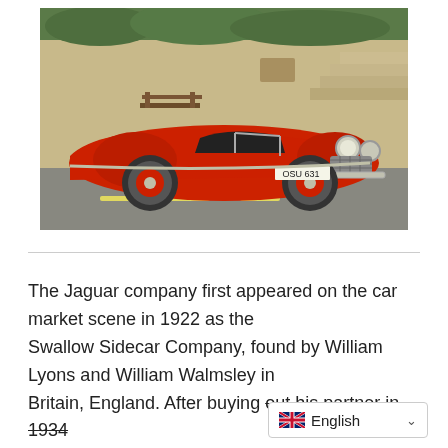[Figure (photo): A classic red Jaguar XK120 roadster (license plate OSU 631) parked on a street, with a stone building, steps, and a bench visible in the background.]
The Jaguar company first appeared on the car market scene in 1922 as the Swallow Sidecar Company, found by William Lyons and William Walmsley in Britain, England. After buying out his partner in 1934 Lyons formed the